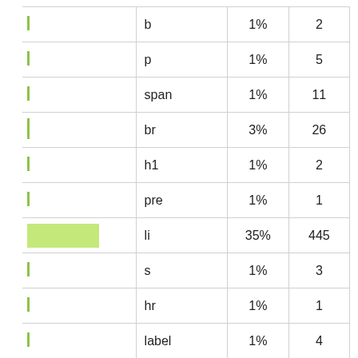| (bar) | tag | % | count |
| --- | --- | --- | --- |
|  | b | 1% | 2 |
|  | p | 1% | 5 |
|  | span | 1% | 11 |
|  | br | 3% | 26 |
|  | h1 | 1% | 2 |
|  | pre | 1% | 1 |
|  | li | 35% | 445 |
|  | s | 1% | 3 |
|  | hr | 1% | 1 |
|  | label | 1% | 4 |